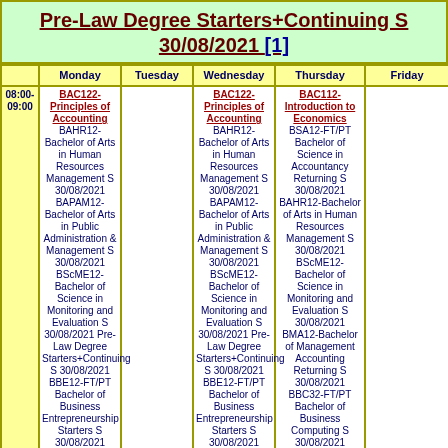Pre-Law Degree Starters+Continuing S 30/08/2021 [1]
|  | Monday | Tuesday | Wednesday | Thursday | Friday |
| --- | --- | --- | --- | --- | --- |
| 08:00-09:00 | BAC122-Principles of Accounting
BAHR12-Bachelor of Arts in Human Resources Management S 30/08/2021
BAPAM12-Bachelor of Arts in Public Administration & Management S 30/08/2021
BScME12-Bachelor of Science in Monitoring and Evaluation S 30/08/2021
Pre-Law Degree Starters+Continuing S 30/08/2021
BBE12-FT/PT Bachelor of Business Entrepreneurship Starters S 30/08/2021 BAF12-FT/PT Bachelor of Accounting and |  | BAC122-Principles of Accounting
BAHR12-Bachelor of Arts in Human Resources Management S 30/08/2021
BAPAM12-Bachelor of Arts in Public Administration & Management S 30/08/2021
BScME12-Bachelor of Science in Monitoring and Evaluation S 30/08/2021
Pre-Law Degree Starters+Continuing S 30/08/2021
BBE12-FT/PT Bachelor of Business Entrepreneurship Starters S 30/08/2021 BAF12-FT/PT Bachelor of Accounting and | BAC112-Introduction to Economics
BSA12-FT/PT Bachelor of Science in Accountancy Returning S 30/08/2021
BAHR12-Bachelor of Arts in Human Resources Management S 30/08/2021
BScME12-Bachelor of Science in Monitoring and Evaluation S 30/08/2021
BMA12-Bachelor of Management Accounting Returning S 30/08/2021
BBC32-FT/PT Bachelor of Business Computing S 30/08/2021
BACC12-FT/PT Bachelor of Accounting Returning S 30/08/2021 BAF12- |  |